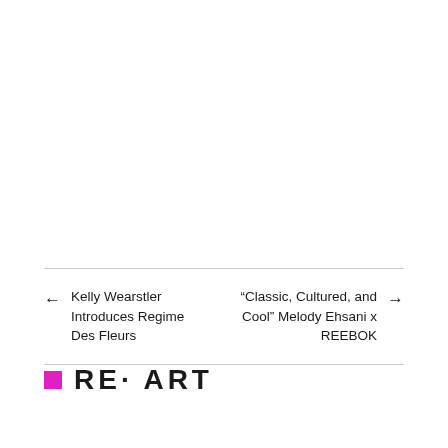← Kelly Wearstler Introduces Regime Des Fleurs
"Classic, Cultured, and Cool" Melody Ehsani x REEBOK →
[Figure (logo): RE·ART logo with a magenta/pink filled square on the left followed by the text RE· ART in bold sans-serif capital letters]